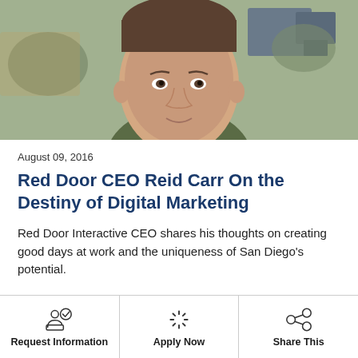[Figure (photo): Photo of a man in a dark olive green shirt, seated or standing in an office environment]
August 09, 2016
Red Door CEO Reid Carr On the Destiny of Digital Marketing
Red Door Interactive CEO shares his thoughts on creating good days at work and the uniqueness of San Diego's potential.
Request Information | Apply Now | Share This